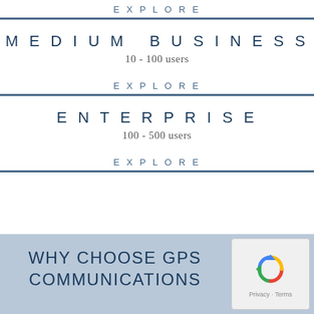EXPLORE
MEDIUM BUSINESS
10 - 100 users
EXPLORE
ENTERPRISE
100 - 500 users
EXPLORE
WHY CHOOSE GPS COMMUNICATIONS